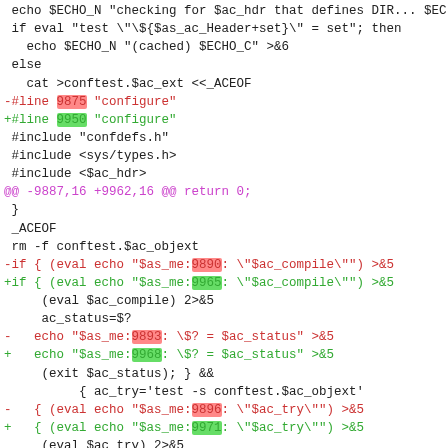Diff/patch code block showing changes to a configure script, with removed lines (red, -) and added lines (green, +), and hunk headers in magenta.